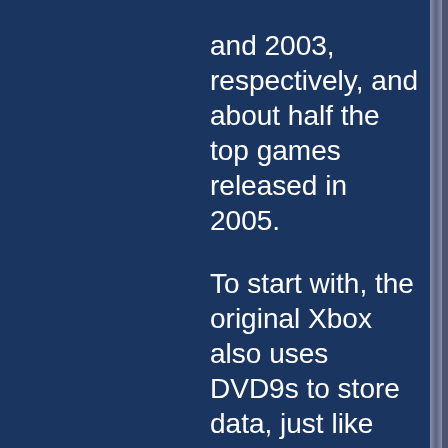and 2003, respectively, and about half the top games released in 2005. To start with, the original Xbox also uses DVD9s to store data, just like the Xbox 360. It's important to note not only the size of the games, but the percentage